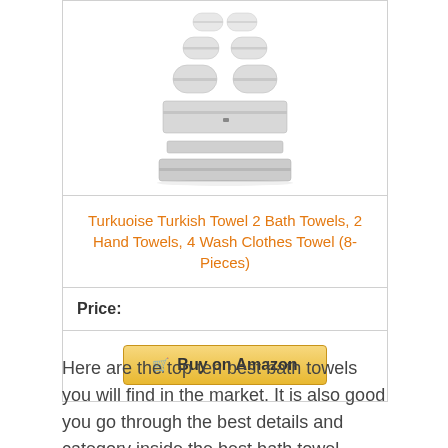[Figure (photo): Stack of white folded bath towels arranged in a pyramid shape]
Turkuoise Turkish Towel 2 Bath Towels, 2 Hand Towels, 4 Wash Clothes Towel (8-Pieces)
Price:
[Figure (other): Buy on Amazon button with shopping cart icon]
Here are the top ten best bath towels you will find in the market. It is also good you go through the best details and category inside the best bath towel items